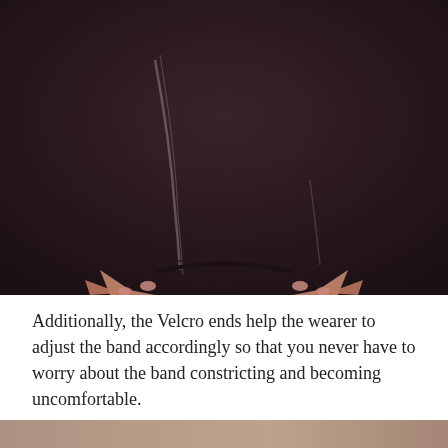[Figure (photo): Close-up photo of a dark-colored wristband or hair tie being stretched by two hands with painted fingernails against a dark maroon/brown background. The band appears to be black with subtle sheen.]
Additionally, the Velcro ends help the wearer to adjust the band accordingly so that you never have to worry about the band constricting and becoming uncomfortable.
[Figure (photo): Partial photo visible at the bottom of the page, showing another close-up product/lifestyle image.]